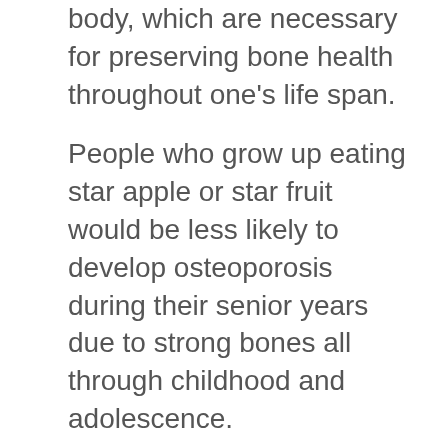body, which are necessary for preserving bone health throughout one's life span.
People who grow up eating star apple or star fruit would be less likely to develop osteoporosis during their senior years due to strong bones all through childhood and adolescence.
In summary, the star apple health benefits are achieved through the nutrients it contains, like calcium for strong bones and teeth, iron to prevent anemia or low red blood cell count due to lack of oxygen in tissues (a condition called hypoxia).